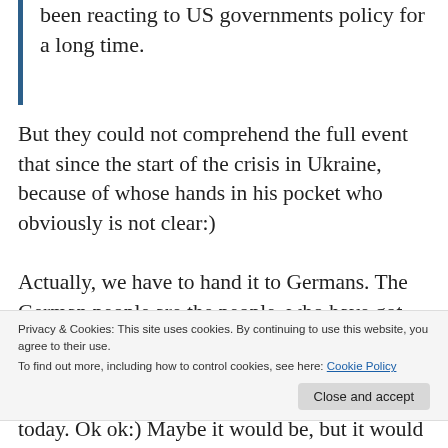been reacting to US governments policy for a long time.
But they could not comprehend the full event that since the start of the crisis in Ukraine, because of whose hands in his pocket who obviously is not clear:)
Actually, we have to hand it to Germans. The German people are the people, who have got the mechanical intelligence in genetically(I
Privacy & Cookies: This site uses cookies. By continuing to use this website, you agree to their use.
To find out more, including how to control cookies, see here: Cookie Policy
today. Ok ok:) Maybe it would be, but it would